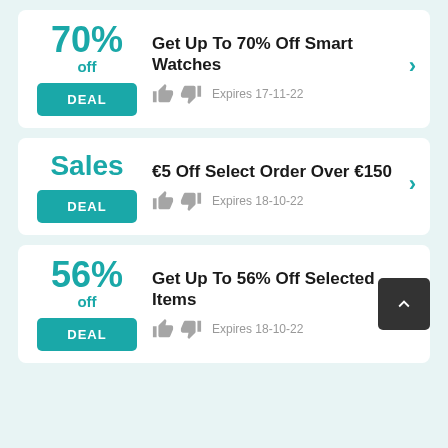70% off — Get Up To 70% Off Smart Watches — DEAL — Expires 17-11-22
Sales — €5 Off Select Order Over €150 — DEAL — Expires 18-10-22
56% off — Get Up To 56% Off Selected Items — DEAL — Expires 18-10-22